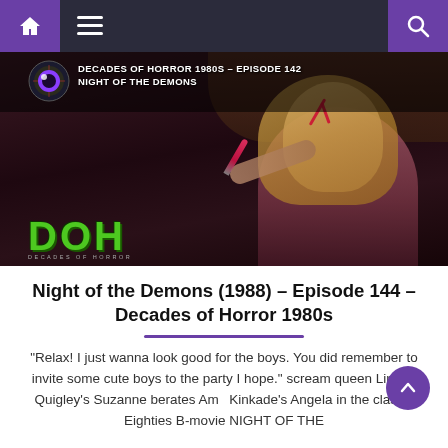Navigation bar with home, menu, and search icons
[Figure (screenshot): Video thumbnail showing a blonde woman with demonic face paint holding a lipstick. Text overlay reads: DECADES OF HORROR 1980S - EPISODE 142 NIGHT OF THE DEMONS. DOH Decades of Horror logo in green at bottom left, eyeball logo at top left.]
Night of the Demons (1988) – Episode 144 – Decades of Horror 1980s
“Relax! I just wanna look good for the boys. You did remember to invite some cute boys to the party I hope.” scream queen Linnea Quigley’s Suzanne berates Amy Kinkade’s Angela in the classic Eighties B-movie NIGHT OF THE